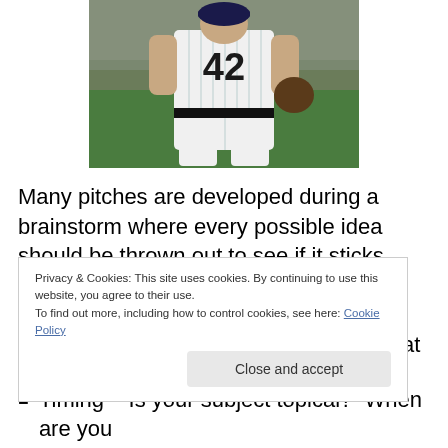[Figure (photo): Baseball player wearing jersey number 42 (pinstripe uniform) viewed from behind, standing on a baseball field with crowd in background. Player holds a baseball glove.]
Many pitches are developed during a brainstorm where every possible idea should be thrown out to see if it sticks.  They say no idea is a bad idea in a brainstorm and that is true – – a seemingly marginal idea can spur a great thought. I would add a caveat to that though – – go into
Privacy & Cookies: This site uses cookies. By continuing to use this website, you agree to their use.
To find out more, including how to control cookies, see here: Cookie Policy
Timing – Is your subject topical?  When are you